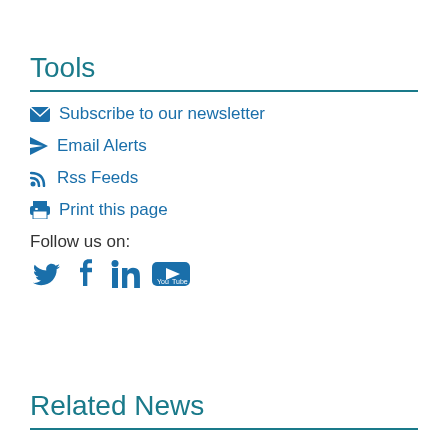Tools
Subscribe to our newsletter
Email Alerts
Rss Feeds
Print this page
Follow us on:
[Figure (infographic): Social media icons: Twitter, Facebook, LinkedIn, YouTube]
Related News